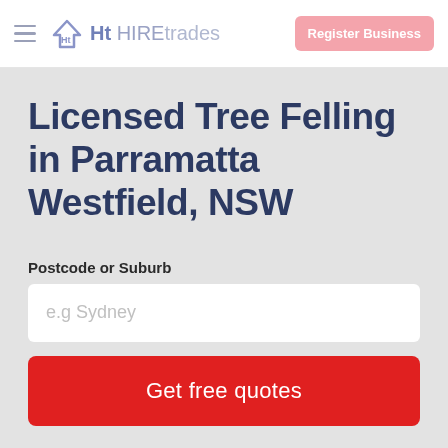HIREtrades — Register Business
Licensed Tree Felling in Parramatta Westfield, NSW
Postcode or Suburb
e.g Sydney
Get free quotes